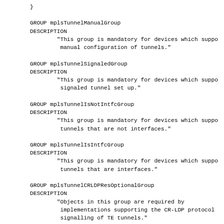}
GROUP mplsTunnelManualGroup
DESCRIPTION
    "This group is mandatory for devices which support
     manual configuration of tunnels."
GROUP mplsTunnelSignaledGroup
DESCRIPTION
    "This group is mandatory for devices which support
     signaled tunnel set up."
GROUP mplsTunnelIsNotIntfcGroup
DESCRIPTION
    "This group is mandatory for devices which support
     tunnels that are not interfaces."
GROUP mplsTunnelIsIntfcGroup
DESCRIPTION
    "This group is mandatory for devices which support
     tunnels that are interfaces."
GROUP mplsTunnelCRLDPResOptionalGroup
DESCRIPTION
    "Objects in this group are required by
     implementations supporting the CR-LDP protocol
     signalling of TE tunnels."
GROUP mplsTeNotificationGroup
DESCRIPTION "This group is mandatory for those implementations..."